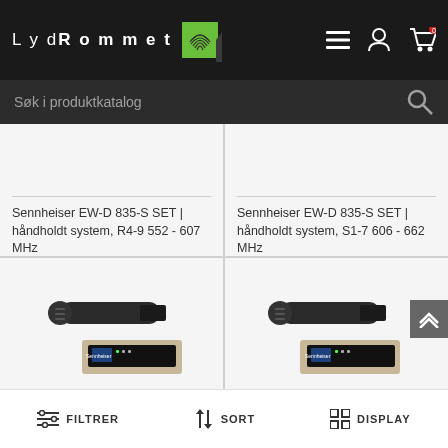LydRommet
Søk i produktkatalog
Sennheiser EW-D 835-S SET | håndholdt system, R4-9 552 - 607 MHz
Sennheiser EW-D 835-S SET | håndholdt system, S1-7 606 - 662 MHz
[Figure (photo): Sennheiser wireless microphone handheld and receiver unit]
[Figure (photo): Sennheiser wireless microphone handheld and receiver unit]
FILTRER   SORT   DISPLAY